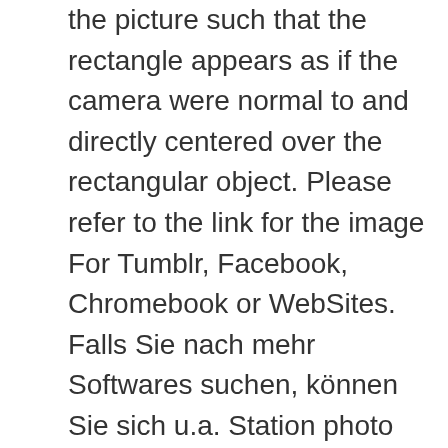the picture such that the rectangle appears as if the camera were normal to and directly centered over the rectangular object. Please refer to the link for the image For Tumblr, Facebook, Chromebook or WebSites. Falls Sie nach mehr Softwares suchen, können Sie sich u.a. Station photo effect features your photo in a subway train station. 1. Now let's see how perspective distortion correction works. Turn your best portraits and landscapes into 3D pictures in a very customized and easy way. Move the Distortion slider to straighten the photo lines. After selecting you can specify additional settings. Level Applies perspective correction to ensure that the image is level. If you want to use cool image effect, you much press the browser button and load an image from your computer. Lunapics Image software free image, art & animated Gif creator. Choose tool: "Four points perspective correction". Easily Fix the